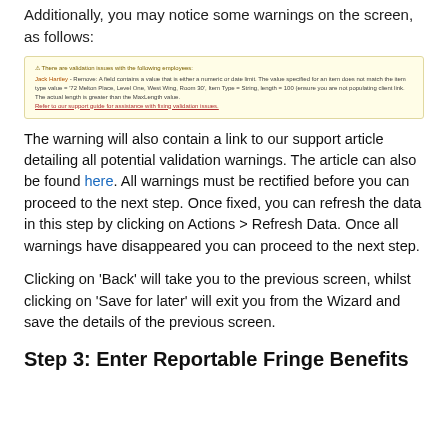Additionally, you may notice some warnings on the screen, as follows:
[Figure (screenshot): Screenshot of a validation warning box with yellow background. Shows a warning icon and text: 'There are validation issues with the following employees: Jack Hartley - Remove: A field contains a value that is either a numeric or date limit. The value specified for an item does not match the item type value = '72 Melton Place, Level One, West Wing, Room 30', Item Type = String, length = 100 (ensure you are not populating client link. The actual length is greater than the MaxLength value. Refer to our support guide for assistance with fixing validation issues.']
The warning will also contain a link to our support article detailing all potential validation warnings. The article can also be found here. All warnings must be rectified before you can proceed to the next step. Once fixed, you can refresh the data in this step by clicking on Actions > Refresh Data. Once all warnings have disappeared you can proceed to the next step.
Clicking on 'Back' will take you to the previous screen, whilst clicking on 'Save for later' will exit you from the Wizard and save the details of the previous screen.
Step 3: Enter Reportable Fringe Benefits